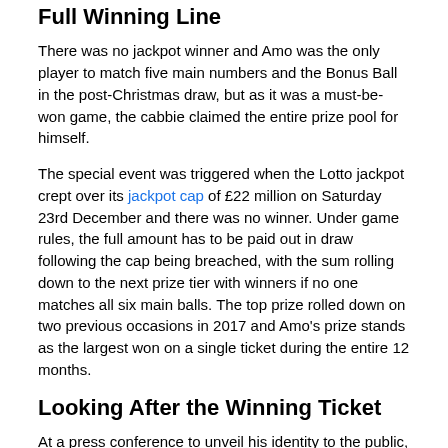Full Winning Line
There was no jackpot winner and Amo was the only player to match five main numbers and the Bonus Ball in the post-Christmas draw, but as it was a must-be-won game, the cabbie claimed the entire prize pool for himself.
The special event was triggered when the Lotto jackpot crept over its jackpot cap of £22 million on Saturday 23rd December and there was no winner. Under game rules, the full amount has to be paid out in draw following the cap being breached, with the sum rolling down to the next prize tier with winners if no one matches all six main balls. The top prize rolled down on two previous occasions in 2017 and Amo's prize stands as the largest won on a single ticket during the entire 12 months.
Looking After the Winning Ticket
At a press conference to unveil his identity to the public, the winner confessed he'd driven around with the £24.5 million ticket in his glove compartment for two days before he finally checked his numbers. On checking on the lottery results and